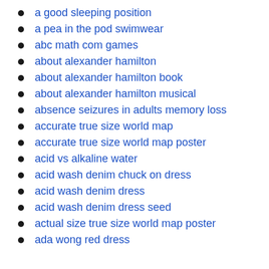a good sleeping position
a pea in the pod swimwear
abc math com games
about alexander hamilton
about alexander hamilton book
about alexander hamilton musical
absence seizures in adults memory loss
accurate true size world map
accurate true size world map poster
acid vs alkaline water
acid wash denim chuck on dress
acid wash denim dress
acid wash denim dress seed
actual size true size world map poster
ada wong red dress